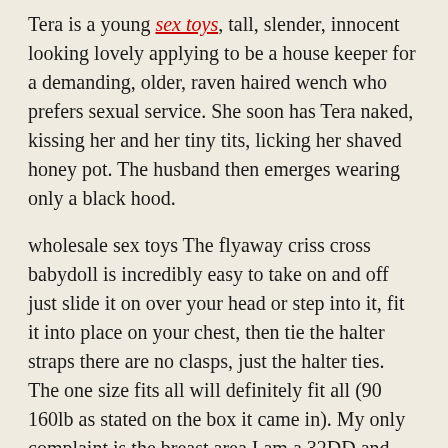Tera is a young sex toys, tall, slender, innocent looking lovely applying to be a house keeper for a demanding, older, raven haired wench who prefers sexual service. She soon has Tera naked, kissing her and her tiny tits, licking her shaved honey pot. The husband then emerges wearing only a black hood.
wholesale sex toys The flyaway criss cross babydoll is incredibly easy to take on and off just slide it on over your head or step into it, fit it into place on your chest, then tie the halter straps there are no clasps, just the halter ties. The one size fits all will definitely fit all (90 160lb as stated on the box it came in). My only complaint is the breast area I am a 32DD and even though the babydoll fit my ribs comfortably, my DD’s barely stayed inside the lines.wholesale sex toys
wholesale vibrators First of all, he would be more than a “friend” and he would be cold, aloof, “cool”. I really...